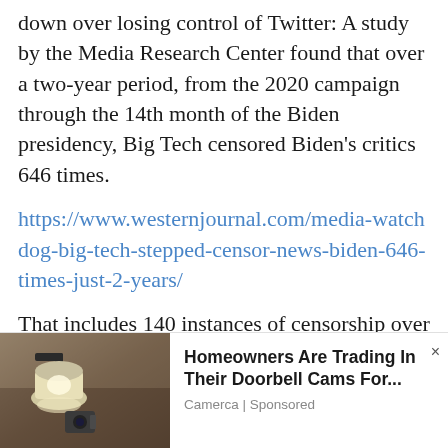down over losing control of Twitter: A study by the Media Research Center found that over a two-year period, from the 2020 campaign through the 14th month of the Biden presidency, Big Tech censored Biden's critics 646 times.
https://www.westernjournal.com/media-watchdog-big-tech-stepped-censor-news-biden-646-times-just-2-years/
That includes 140 instances of censorship over Hunter Biden's laptop
[Figure (photo): Photo of a wall-mounted outdoor lamp/light fixture on a stone or stucco wall, used as advertisement thumbnail image]
Homeowners Are Trading In Their Doorbell Cams For... Camerca | Sponsored